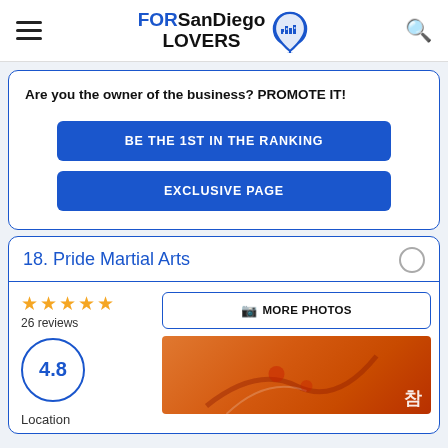FORSanDiegoLOVERS
Are you the owner of the business? PROMOTE IT!
BE THE 1ST IN THE RANKING
EXCLUSIVE PAGE
18. Pride Martial Arts
4.8
26 reviews
MORE PHOTOS
Location